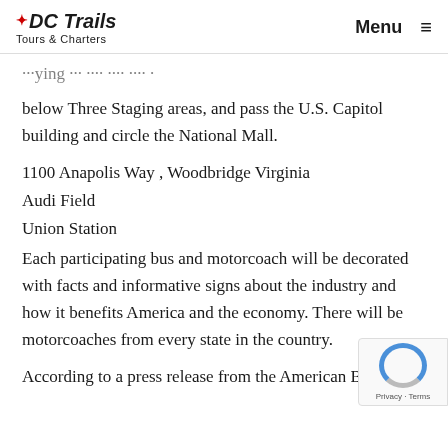DC Trails Tours & Charters — Menu
below Three Staging areas, and pass the U.S. Capitol building and circle the National Mall.
1100 Anapolis Way , Woodbridge Virginia
Audi Field
Union Station
Each participating bus and motorcoach will be decorated with facts and informative signs about the industry and how it benefits America and the economy. There will be motorcoaches from every state in the country.
According to a press release from the American Bus